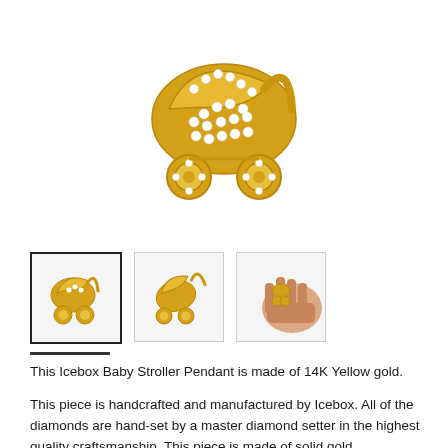[Figure (photo): Close-up product photo of a diamond-encrusted 14K yellow gold baby stroller pendant. The pendant is shaped like a baby carriage with numerous round brilliant diamonds pavé-set across the entire surface, shown on a white background.]
[Figure (photo): Thumbnail 1: Small image of the gold baby stroller pendant on white background, front view, selected (outlined).]
[Figure (photo): Thumbnail 2: Small image of the gold baby stroller pendant on white background, angled side view.]
[Figure (photo): Thumbnail 3: Hand holding the small gold baby stroller pendant to show scale.]
This Icebox Baby Stroller Pendant is made of 14K Yellow gold.
This piece is handcrafted and manufactured by Icebox. All of the diamonds are hand-set by a master diamond setter in the highest quality craftsmanship. This piece is made of solid gold.